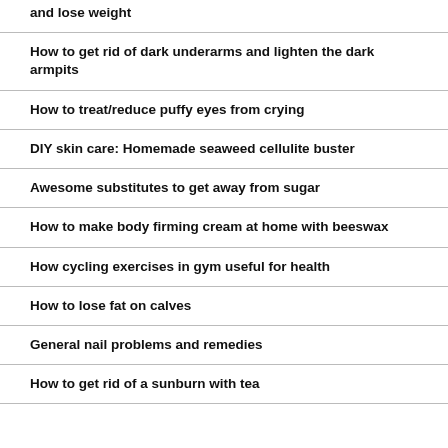and lose weight
How to get rid of dark underarms and lighten the dark armpits
How to treat/reduce puffy eyes from crying
DIY skin care: Homemade seaweed cellulite buster
Awesome substitutes to get away from sugar
How to make body firming cream at home with beeswax
How cycling exercises in gym useful for health
How to lose fat on calves
General nail problems and remedies
How to get rid of a sunburn with tea